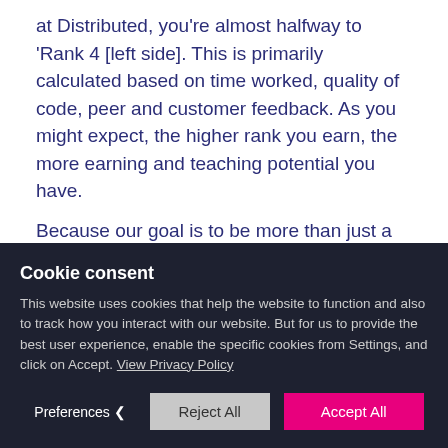at Distributed, you're almost halfway to 'Rank 4 [left side]. This is primarily calculated based on time worked, quality of code, peer and customer feedback. As you might expect, the higher rank you earn, the more earning and teaching potential you have.
Because our goal is to be more than just a place to facilitate work, we give you tips on how you can 'Increase your earnings', [left] making
Cookie consent
This website uses cookies that help the website to function and also to track how you interact with our website. But for us to provide the best user experience, enable the specific cookies from Settings, and click on Accept. View Privacy Policy